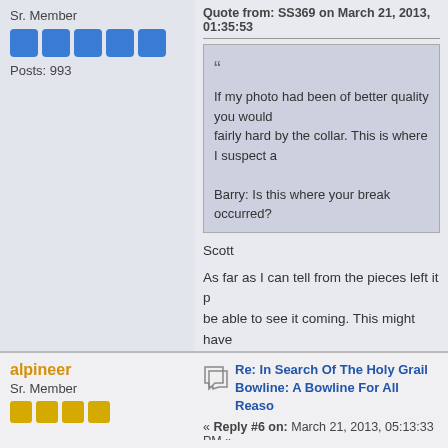Sr. Member
Posts: 993
Quote from: SS369 on March 21, 2013, 01:35:53
If my photo had been of better quality you would fairly hard by the collar. This is where I suspect a

Barry: Is this where your break occurred?
Scott
As far as I can tell from the pieces left it p be able to see it coming. This might have reduction in breaking strength which woul permanent mooring loop though rather th be so likely to loosen under repeated loa 1010) and is small and neat once dressed
Barry
alpineer
Sr. Member
Re: In Search Of The Holy Grail Bowline: A Bowline For All Reaso
« Reply #6 on: March 21, 2013, 05:13:33 PM »